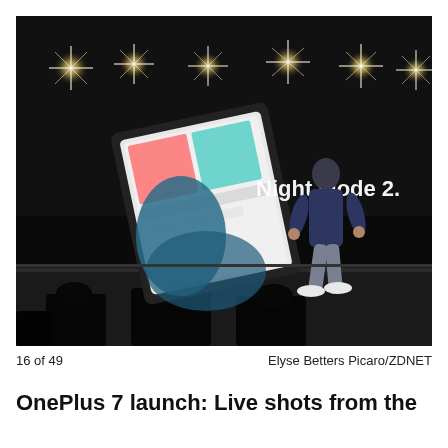[Figure (photo): A presenter on a dark stage standing in front of a large screen displaying 'Night Mode 2.0'. Stage lights create star-burst effects across the top. A hand holding a smartphone is visible on the left side of the screen projection.]
16 of 49	Elyse Betters Picaro/ZDNET
OnePlus 7 launch: Live shots from the